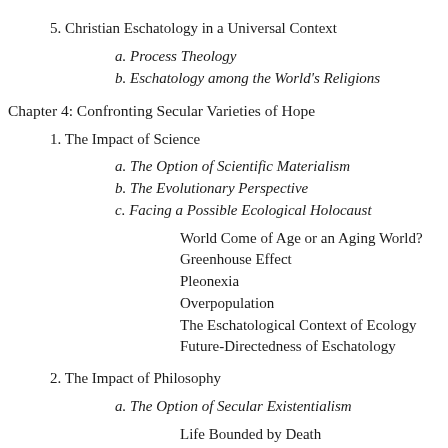5. Christian Eschatology in a Universal Context
a. Process Theology
b. Eschatology among the World's Religions
Chapter 4: Confronting Secular Varieties of Hope
1. The Impact of Science
a. The Option of Scientific Materialism
b. The Evolutionary Perspective
c. Facing a Possible Ecological Holocaust
World Come of Age or an Aging World?
Greenhouse Effect
Pleonexia
Overpopulation
The Eschatological Context of Ecology
Future-Directedness of Eschatology
2. The Impact of Philosophy
a. The Option of Secular Existentialism
Life Bounded by Death
Humanity Thrown upon Itself